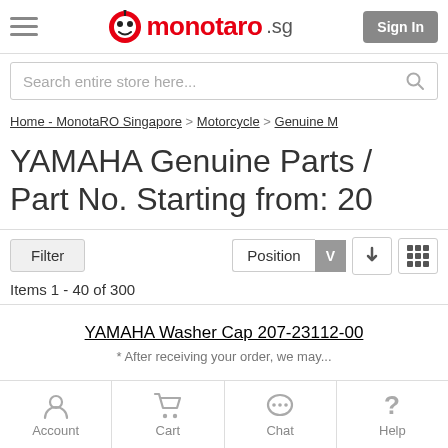monotaro.sg — Sign In
Search entire store here...
Home - MonotaRO Singapore > Motorcycle > Genuine M
YAMAHA Genuine Parts / Part No. Starting from: 20
Filter   Position  Items 1 - 40 of 300
YAMAHA Washer Cap 207-23112-00
* After receiving your order, we may...
Account  Cart  Chat  Help